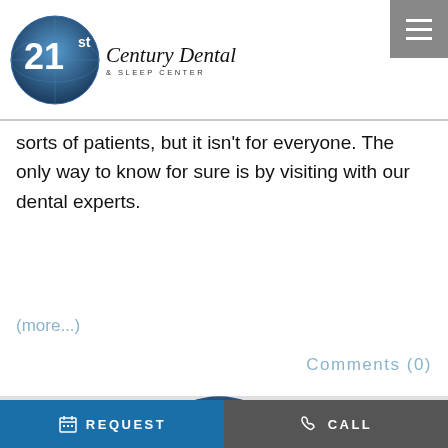21st Century Dental & Sleep Center
sorts of patients, but it isn't for everyone. The only way to know for sure is by visiting with our dental experts.
(more...)
Comments (0)
[Figure (logo): 21st Century Dental & Sleep Center logo partial, circular blue globe with '21st' text]
REQUEST   CALL